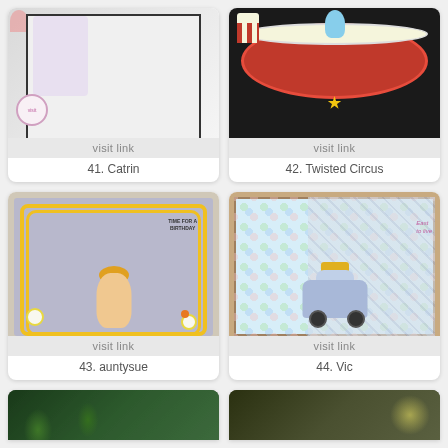[Figure (photo): Craft card thumbnail for item 41 with floral and figure elements on white/grey background]
visit link
41. Catrin
[Figure (photo): Craft card thumbnail for item 42 showing circus theme with red drum and dancer on dark background]
visit link
42. Twisted Circus
[Figure (photo): Craft card thumbnail for item 43 with birthday theme, yellow scalloped border, girl with flower]
visit link
43. auntysue
[Figure (photo): Craft card thumbnail for item 44 showing a blue car with suitcases on polka dot and diamond pattern background]
visit link
44. Vic
[Figure (photo): Partial view of craft card thumbnail 45 with dark green leaf/nature theme]
[Figure (photo): Partial view of craft card thumbnail 46 with dark greenish tone and yellow light]